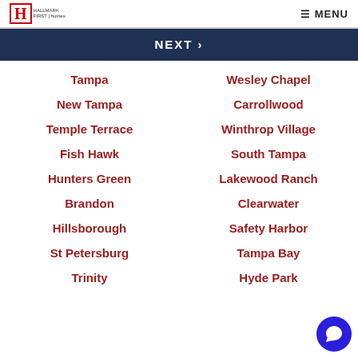H HALLMARK FIRST | homes  ☰ MENU
NEXT ›
Tampa
Wesley Chapel
New Tampa
Carrollwood
Temple Terrace
Winthrop Village
Fish Hawk
South Tampa
Hunters Green
Lakewood Ranch
Brandon
Clearwater
Hillsborough
Safety Harbor
St Petersburg
Tampa Bay
Trinity
Hyde Park